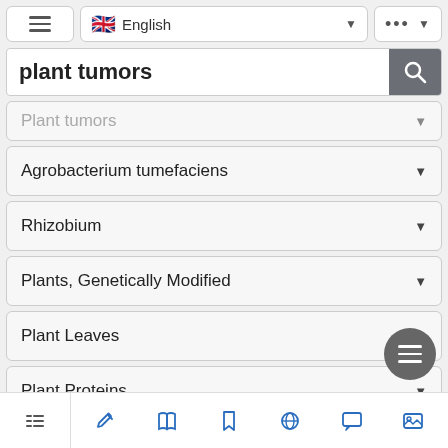[Figure (screenshot): Top navigation bar with hamburger menu, English language selector with UK flag, and options button]
[Figure (screenshot): Search bar with bold text 'plant tumors' and search icon button]
Plant tumors
Agrobacterium tumefaciens
Rhizobium
Plants, Genetically Modified
Plant Leaves
Plant Proteins
Plant Roots
[Figure (screenshot): Bottom navigation bar with list, edit, book, bookmark, globe, chat, and image icons]